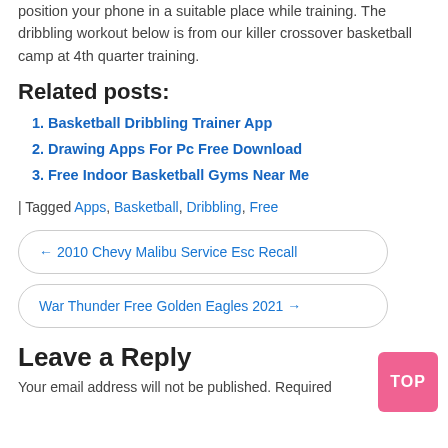position your phone in a suitable place while training. The dribbling workout below is from our killer crossover basketball camp at 4th quarter training.
Related posts:
Basketball Dribbling Trainer App
Drawing Apps For Pc Free Download
Free Indoor Basketball Gyms Near Me
| Tagged Apps, Basketball, Dribbling, Free
← 2010 Chevy Malibu Service Esc Recall
War Thunder Free Golden Eagles 2021 →
Leave a Reply
Your email address will not be published. Required